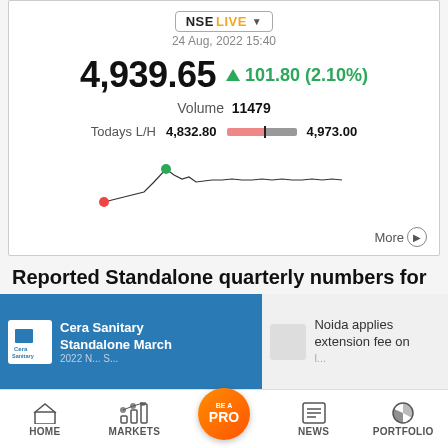[Figure (screenshot): NSE LIVE stock ticker showing price 4,939.65 up 101.80 (2.10%), Volume 11479, Todays L/H 4,832.80 to 4,973.00, with a mini line chart]
24 Aug, 2022 15:40
4,939.65  ▲  101.80  (2.10%)
Volume  11479
Todays L/H  4,832.80  4,973.00
Reported Standalone quarterly numbers for Cera Sanitaryware are:
[Figure (screenshot): Notification overlay showing Cera Sanitary Standalone March news card on left (blue) and Noida applies extension fee on right (gray)]
HOME  MARKETS  BE A PRO  NEWS  PORTFOLIO